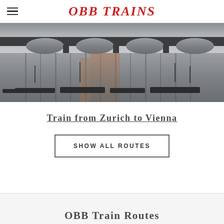OBB TRAINS
[Figure (photo): River scene with a bridge reflected in calm water, photographed at dusk with muted tones of grey and orange.]
Train from Zurich to Vienna
SHOW ALL ROUTES
OBB Train Routes